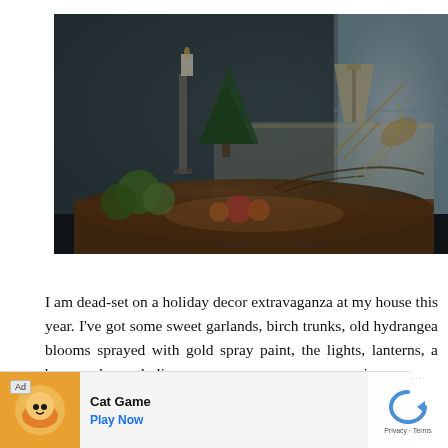[Figure (photo): Dark moody interior photo of a dining table with holiday/autumn nature decorations: green moss balls, red apples, small orange pumpkins, branches, dried flowers/wheat, a small conifer tree, a tall white candle on a silver candlestick, and a lamp in the background. Blue-grey walls visible. Natural light from a window on the right.]
I am dead-set on a holiday decor extravaganza at my house this year. I've got some sweet garlands, birch trunks, old hydrangea blooms sprayed with gold spray paint, the lights, lanterns, a boxwood wreath, lime green osage oranges, grapevines spr... and...